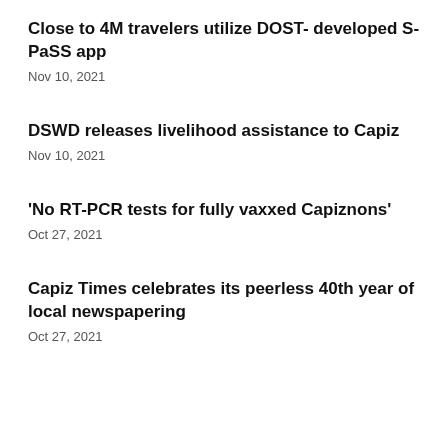Close to 4M travelers utilize DOST- developed S-PaSS app
Nov 10, 2021
DSWD releases livelihood assistance to Capiz
Nov 10, 2021
'No RT-PCR tests for fully vaxxed Capiznons'
Oct 27, 2021
Capiz Times celebrates its peerless 40th year of local newspapering
Oct 27, 2021